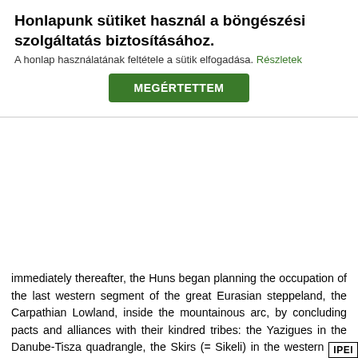Germanic tribal federation, the Visi-Goths, located on the frontier of the empire, offered fierce resistance, the defeat of the ambitious offensive enhanced the distance, but gave up their land, crossed the Danube and entered sweeping action in the of the foothills of the Carpathian moun
Honlapunk sütiket használ a böngészési szolgáltatás biztosításához.
A honlap használatának feltétele a sütik elfogadása. Részletek
MEGÉRTETTEM
immediately thereafter, the Huns began planning the occupation of the last western segment of the great Eurasian steppeland, the Carpathian Lowland, inside the mountainous arc, by concluding pacts and alliances with their kindred tribes: the Yazigues in the Danube-Tisza quadrangle, the Skirs (= Sikeli) in the western half of the country, the Carpodari in Upper Hungary, as well as with the Romans themselves, whose famous general Aetius became their most important ally. By virtue of these multiple alliances, the Huns gained control of the whole basin inside the Carpathians, without employing military force. Since the land was given over to Hun sovereignty peacefully, without war, and with the blessings of Rome, the local population had no particular reason to expeet hardship. It remained intact and offered its services to the Hun king, a friend of Rome. The Huns set up their